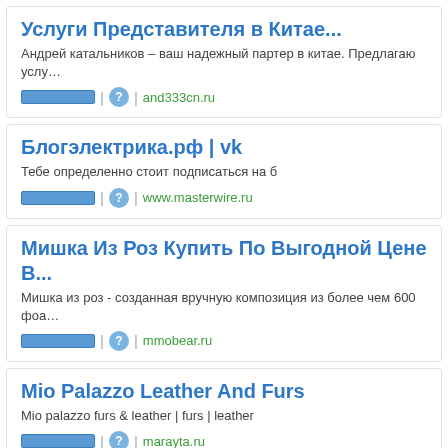Услуги Представителя в Китае...
Андрей катальников – ваш надежный партер в китае. Предлагаю услу…
| ? | and333cn.ru
Блогэлектрика.рф | vk
Тебе определенно стоит подписаться на б
| ? | www.masterwire.ru
Мишка Из Роз Купить По Выгодной Цене В...
Мишка из роз - созданная вручную композиция из более чем 600 фоа…
| ? | mmobear.ru
Mio Palazzo Leather And Furs
Mio palazzo furs & leather | furs | leather
| ? | marayta.ru
Страничка Шикоиста
| ? | shikoist-software.net
Tkd34.ru Website Load Time